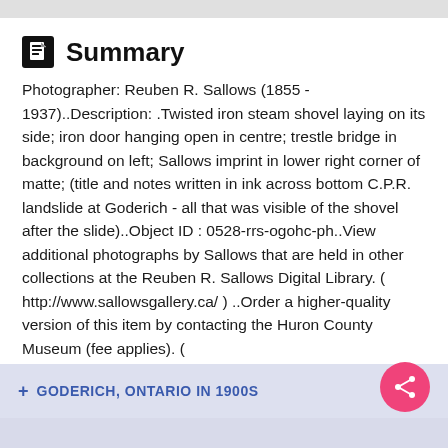Summary
Photographer: Reuben R. Sallows (1855 - 1937)..Description: .Twisted iron steam shovel laying on its side; iron door hanging open in centre; trestle bridge in background on left; Sallows imprint in lower right corner of matte; (title and notes written in ink across bottom C.P.R. landslide at Goderich - all that was visible of the shovel after the slide)..Object ID : 0528-rrs-ogohc-ph..View additional photographs by Sallows that are held in other collections at the Reuben R. Sallows Digital Library. ( http://www.sallowsgallery.ca/ ) ..Order a higher-quality version of this item by contacting the Huron County Museum (fee applies). ( https://www.flickr.com/people/huroncountymuseum/ )
+ GODERICH, ONTARIO IN 1900S